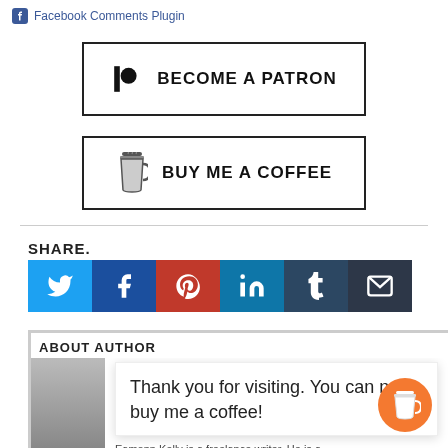Facebook Comments Plugin
[Figure (other): Become a Patron button with Patreon logo]
[Figure (other): Buy Me a Coffee button with coffee cup icon]
SHARE.
[Figure (other): Social share buttons: Twitter, Facebook, Pinterest, LinkedIn, Tumblr, Email]
ABOUT AUTHOR
Thank you for visiting. You can now buy me a coffee!
Eamonn Kelly is a freelance writer. He is a ...